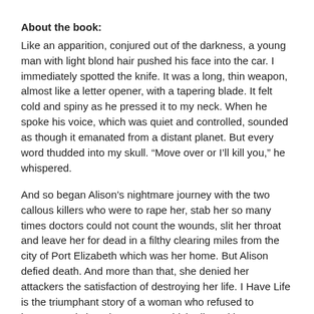About the book:
Like an apparition, conjured out of the darkness, a young man with light blond hair pushed his face into the car. I immediately spotted the knife. It was a long, thin weapon, almost like a letter opener, with a tapering blade. It felt cold and spiny as he pressed it to my neck. When he spoke his voice, which was quiet and controlled, sounded as though it emanated from a distant planet. But every word thudded into my skull. “Move over or I’ll kill you,” he whispered.
And so began Alison’s nightmare journey with the two callous killers who were to rape her, stab her so many times doctors could not count the wounds, slit her throat and leave her for dead in a filthy clearing miles from the city of Port Elizabeth which was her home. But Alison defied death. And more than that, she denied her attackers the satisfaction of destroying her life. I Have Life is the triumphant story of a woman who refused to become a victim. The courage which allowed her to move beyond severe physical and emotional trauma and to turn a devastating experience into something life-affirming and strong, is an inspiration to people everywhere.